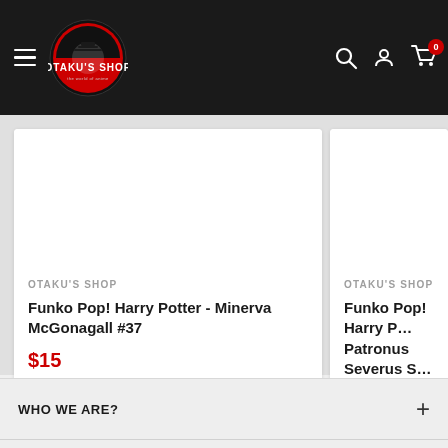Otaku's Shop — navigation header with logo, search, account, and cart icons
[Figure (screenshot): Product card: Funko Pop! Harry Potter - Minerva McGonagall #37, $15, sold by Otaku's Shop]
[Figure (screenshot): Partial product card: Funko Pop! Harry Potter - Patronus Severus S..., $15, sold by Otaku's Shop]
WHO WE ARE?